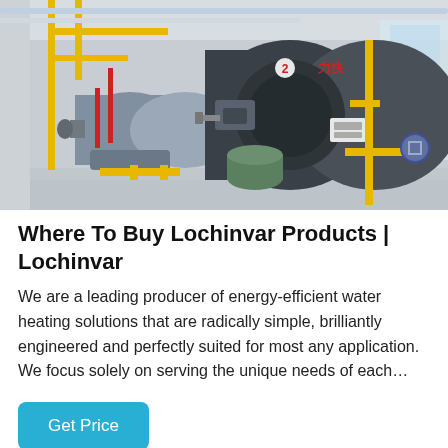[Figure (photo): Industrial boiler room with multiple large cylindrical gas boilers mounted on yellow metal pipe frames, set in a light-colored industrial facility. Chinese characters visible on one boiler.]
Where To Buy Lochinvar Products | Lochinvar
We are a leading producer of energy-efficient water heating solutions that are radically simple, brilliantly engineered and perfectly suited for most any application. We focus solely on serving the unique needs of each…
Get Price